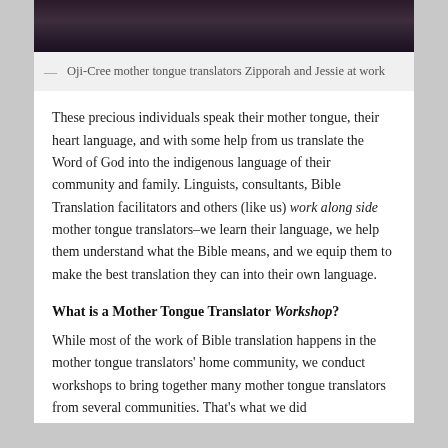[Figure (photo): Photo of Oji-Cree mother tongue translators Zipporah and Jessie at work, showing people at a desk with equipment]
— Oji-Cree mother tongue translators Zipporah and Jessie at work
These precious individuals speak their mother tongue, their heart language, and with some help from us translate the Word of God into the indigenous language of their community and family. Linguists, consultants, Bible Translation facilitators and others (like us) work along side mother tongue translators–we learn their language, we help them understand what the Bible means, and we equip them to make the best translation they can into their own language.
What is a Mother Tongue Translator Workshop?
While most of the work of Bible translation happens in the mother tongue translators' home community, we conduct workshops to bring together many mother tongue translators from several communities. That's what we did